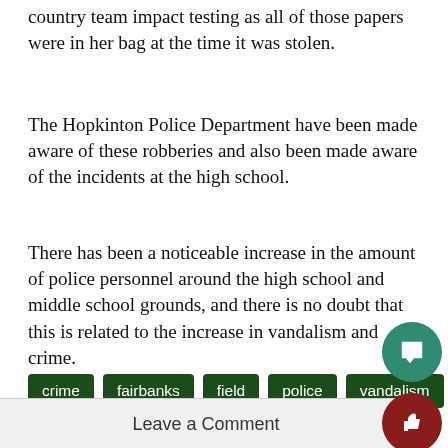country team impact testing as all of those papers were in her bag at the time it was stolen.
The Hopkinton Police Department have been made aware of these robberies and also been made aware of the incidents at the high school.
There has been a noticeable increase in the amount of police personnel around the high school and middle school grounds, and there is no doubt that this is related to the increase in vandalism and crime.
crime
fairbanks
field
police
vandalism
Leave a Comment